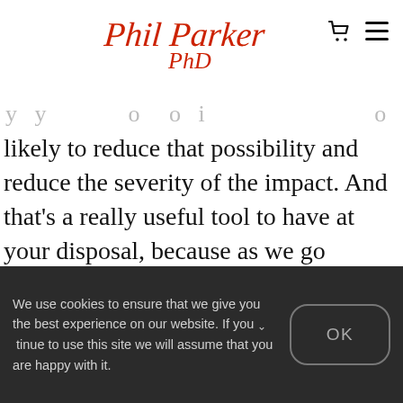Phil Parker PhD
likely to reduce that possibility and reduce the severity of the impact. And that's a really useful tool to have at your disposal, because as we go through the world, we always come in contact with viruses, bacteria and bugs and germs, and having a way to minimise their effects is useful
We use cookies to ensure that we give you the best experience on our website. If you continue to use this site we will assume that you are happy with it.